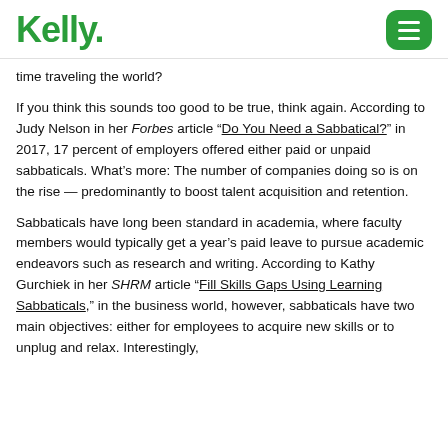Kelly.
time traveling the world?
If you think this sounds too good to be true, think again. According to Judy Nelson in her Forbes article “Do You Need a Sabbatical?” in 2017, 17 percent of employers offered either paid or unpaid sabbaticals. What’s more: The number of companies doing so is on the rise — predominantly to boost talent acquisition and retention.
Sabbaticals have long been standard in academia, where faculty members would typically get a year’s paid leave to pursue academic endeavors such as research and writing. According to Kathy Gurchiek in her SHRM article “Fill Skills Gaps Using Learning Sabbaticals,” in the business world, however, sabbaticals have two main objectives: either for employees to acquire new skills or to unplug and relax. Interestingly,